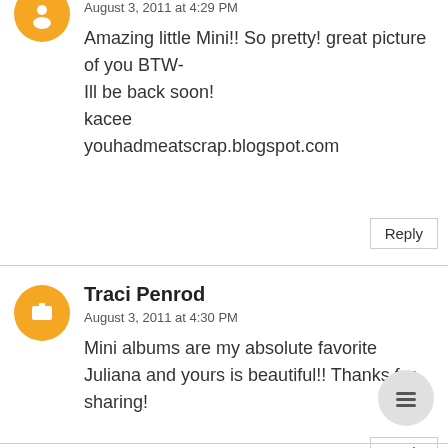August 3, 2011 at 4:29 PM
Amazing little Mini!! So pretty! great picture of you BTW-
Ill be back soon!
kacee
youhadmeatscrap.blogspot.com
Reply
Traci Penrod
August 3, 2011 at 4:30 PM
Mini albums are my absolute favorite Juliana and yours is beautiful!! Thanks for sharing!
Reply